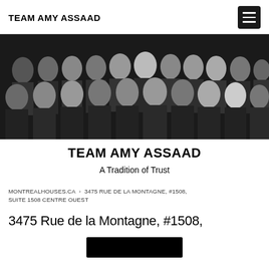TEAM AMY ASSAAD
[Figure (photo): Group photo of Team Amy Assaad members wearing dark business attire against a white background, arranged in two rows.]
TEAM AMY ASSAAD
A Tradition of Trust
MONTREALHOUSES.CA › 3475 RUE DE LA MONTAGNE, #1508, SUITE 1508 CENTRE OUEST
3475 Rue de la Montagne, #1508,